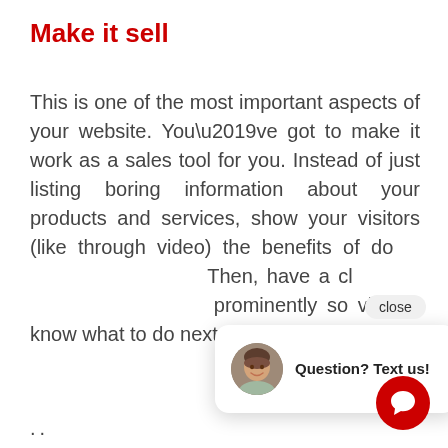Make it sell
This is one of the most important aspects of your website. You’ve got to make it work as a sales tool for you. Instead of just listing boring information about your products and services, show your visitors (like through video) the benefits of do[ing business with you.] Then, have a cl[ear call to action displayed] prominently so visitors know what to do next.
..